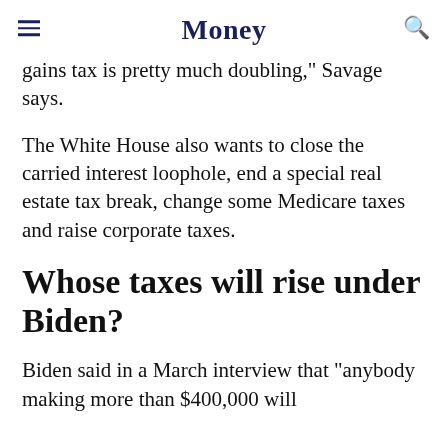Money
gains tax is pretty much doubling," Savage says.
The White House also wants to close the carried interest loophole, end a special real estate tax break, change some Medicare taxes and raise corporate taxes.
Whose taxes will rise under Biden?
Biden said in a March interview that "anybody making more than $400,000 will